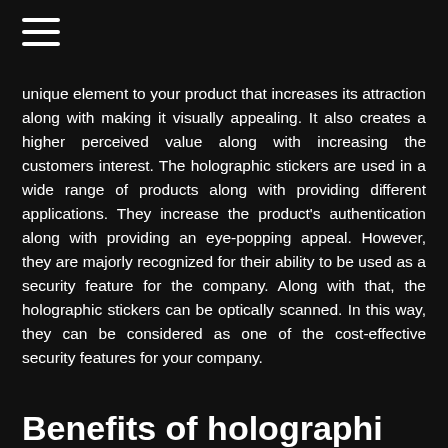≡
unique element to your product that increases its attraction along with making it visually appealing. It also creates a higher perceived value along with increasing the customers interest. The holographic stickers are used in a wide range of products along with providing different applications. They increase the product's authentication along with providing an eye-popping appeal. However, they are majorly recognized for their ability to be used as a security feature for the company. Along with that, the holographic stickers can be optically scanned. In this way, they can be considered as one of the cost-effective security features for your company.
Benefits of holographi